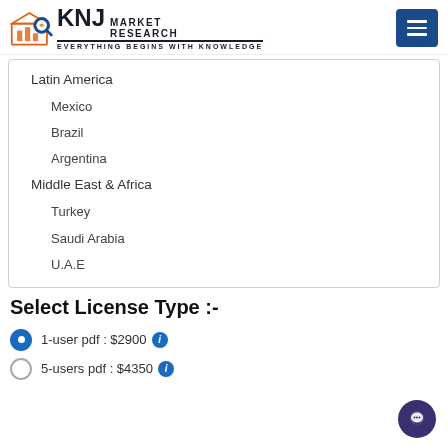KNJ Market Research - Everything Begins with Knowledge
Latin America
Mexico
Brazil
Argentina
Middle East & Africa
Turkey
Saudi Arabia
U.A.E
Select License Type :-
1-user pdf : $2900
5-users pdf : $4350